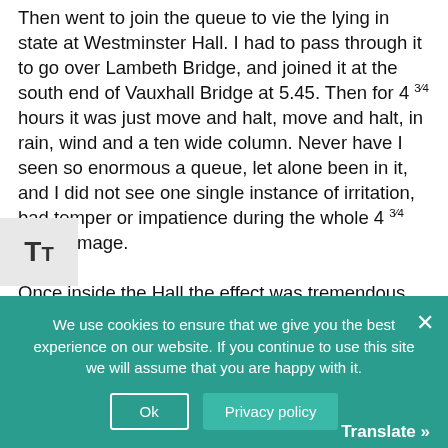Then went to join the queue to vie the lying in state at Westminster Hall. I had to pass through it to go over Lambeth Bridge, and joined it at the south end of Vauxhall Bridge at 5.45. Then for 4 ¾ hours it was just move and halt, move and halt, in rain, wind and a ten wide column. Never have I seen so enormous a queue, let alone been in it, and I did not see one single instance of irritation, bad temper or impatience during the whole 4 ¾ hours' image. Once inside the Hall the effect was tremendous and awe inspiring. On the carpeted floors the noise of shuffling of thousands of feet died away, while the good humoured conversation of the queue was awed into silence. The
[Figure (screenshot): Text resize button (TT) overlay on the left side of the page]
We use cookies to ensure that we give you the best experience on our website. If you continue to use this site we will assume that you are happy with it.
Ok   Privacy policy   Translate »